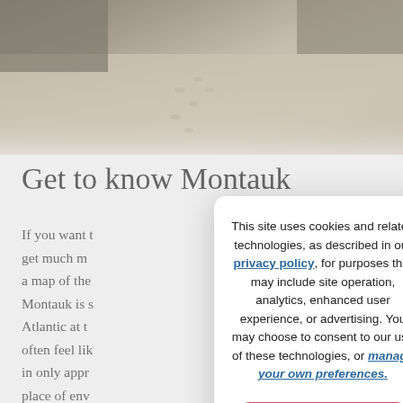[Figure (photo): A beach scene with sand and footprints, seen from above, with some vegetation at the top edge. Sandy dunes with a path of footprints visible.]
Get to know Montauk
If you want [...] get much m[ore...] a map of the [...] Montauk is [...] Atlantic at t[he...] often feel li[ke...] in only appr[oximately...] place of env[y...] the best beaches in the Hamptons, the hamlet has
This site uses cookies and related technologies, as described in our privacy policy, for purposes that may include site operation, analytics, enhanced user experience, or advertising. You may choose to consent to our use of these technologies, or manage your own preferences.
ACCEPT
DECLINE